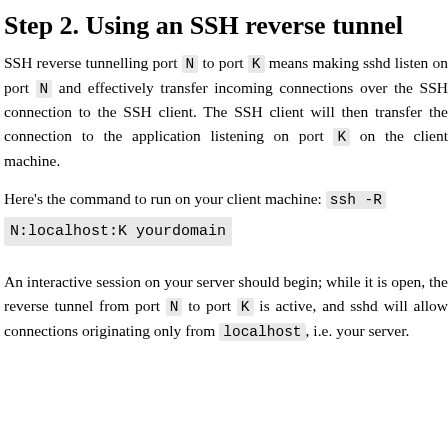Step 2. Using an SSH reverse tunnel
SSH reverse tunnelling port N to port K means making sshd listen on port N and effectively transfer incoming connections over the SSH connection to the SSH client. The SSH client will then transfer the connection to the application listening on port K on the client machine.
Here's the command to run on your client machine: ssh -R N:localhost:K yourdomain
An interactive session on your server should begin; while it is open, the reverse tunnel from port N to port K is active, and sshd will allow connections originating only from localhost, i.e. your server.